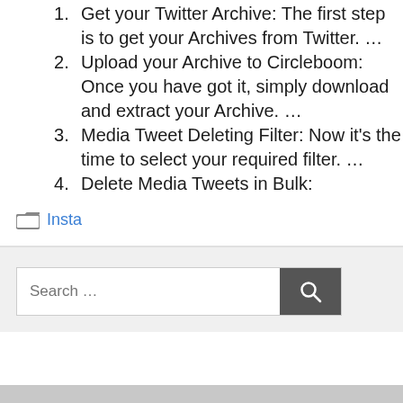Get your Twitter Archive: The first step is to get your Archives from Twitter. …
Upload your Archive to Circleboom: Once you have got it, simply download and extract your Archive. …
Media Tweet Deleting Filter: Now it's the time to select your required filter. …
Delete Media Tweets in Bulk:
Insta
Search …